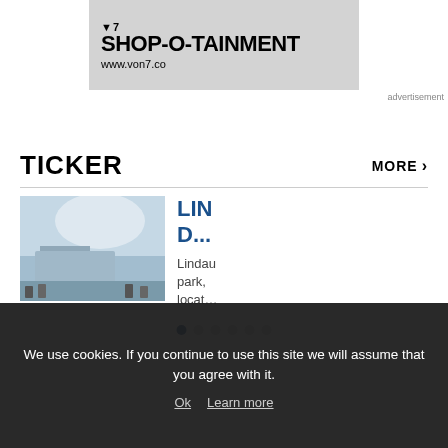[Figure (photo): Advertisement banner for von7.co with text SHOP-O-TAINMENT and URL www.von7.co on grey background]
advertisement
TICKER
MORE ›
[Figure (photo): Outdoor photo of Lindau park building with people and sunshine]
LIND...
Lindau park, locat...
We use cookies. If you continue to use this site we will assume that you agree with it.
Ok  Learn more